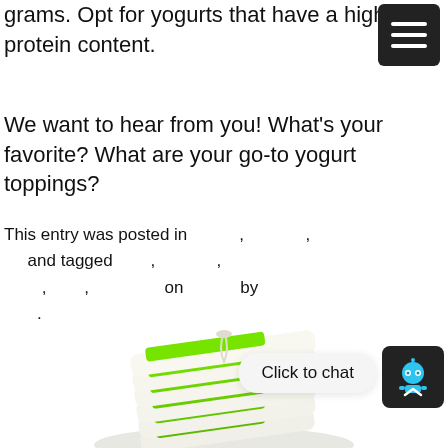grams. Opt for yogurts that have a higher protein content.
We want to hear from you! What's your favorite? What are your go-to yogurt toppings?
This entry was posted in , , and tagged , , , , on by .
[Figure (photo): Stack of individually wrapped green and white tea bag packages tied together with string, shown against a white background.]
Click to chat